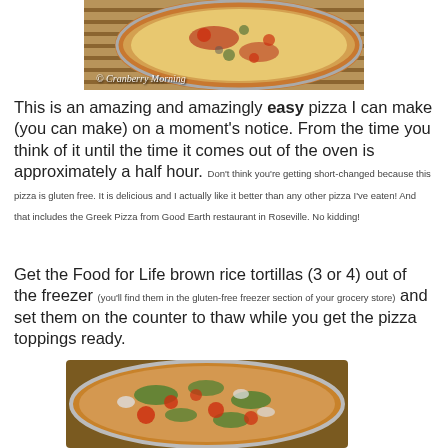[Figure (photo): Top-down view of a pizza with cheese and toppings on a wicker/wooden surface, with '© Cranberry Morning' watermark]
This is an amazing and amazingly easy pizza I can make (you can make) on a moment's notice. From the time you think of it until the time it comes out of the oven is approximately a half hour. Don't think you're getting short-changed because this pizza is gluten free. It is delicious and I actually like it better than any other pizza I've eaten! And that includes the Greek Pizza from Good Earth restaurant in Roseville. No kidding!
Get the Food for Life brown rice tortillas (3 or 4) out of the freezer (you'll find them in the gluten-free freezer section of your grocery store) and set them on the counter to thaw while you get the pizza toppings ready.
[Figure (photo): Close-up of pizza with fresh toppings including tomatoes, mushrooms, and green herbs on a baking pan]